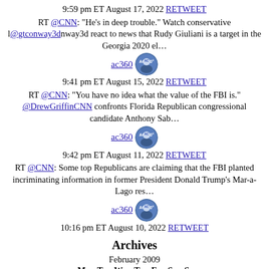9:59 pm ET August 17, 2022 RETWEET
RT @CNN: "He's in deep trouble." Watch conservative l@gtconway3dnway3d react to news that Rudy Giuliani is a target in the Georgia 2020 el…
[Figure (photo): ac360 Twitter avatar circle profile image]
9:41 pm ET August 15, 2022 RETWEET
RT @CNN: "You have no idea what the value of the FBI is." @DrewGriffinCNN confronts Florida Republican congressional candidate Anthony Sab…
[Figure (photo): ac360 Twitter avatar circle profile image]
9:42 pm ET August 11, 2022 RETWEET
RT @CNN: Some top Republicans are claiming that the FBI planted incriminating information in former President Donald Trump's Mar-a-Lago res…
[Figure (photo): ac360 Twitter avatar circle profile image]
10:16 pm ET August 10, 2022 RETWEET
Archives
February 2009
M T W T F S S